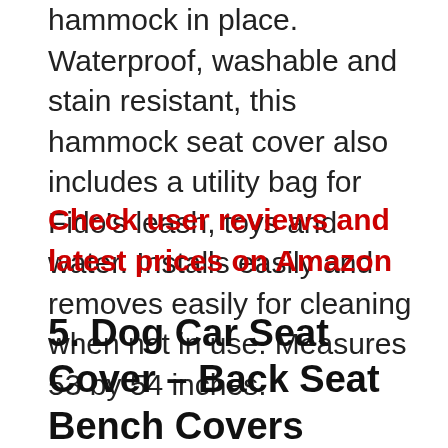hammock in place. Waterproof, washable and stain resistant, this hammock seat cover also includes a utility bag for Fido's leash, toys and water. Installs easily and removes easily for cleaning when not in use. Measures 53 by 54 inches.
Check user reviews and latest prices on Amazon
5. Dog Car Seat Cover – Back Seat Bench Covers Hammock Style Keep Pets Safe In Sudden Stops